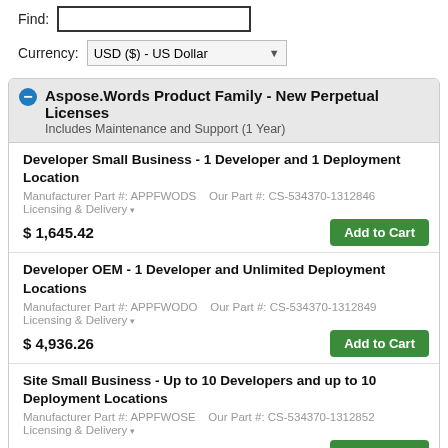Find: [input field]
Currency: USD ($) - US Dollar
Aspose.Words Product Family - New Perpetual Licenses
Includes Maintenance and Support (1 Year)
Developer Small Business - 1 Developer and 1 Deployment Location
Manufacturer Part #: APPFWODS   Our Part #: CS-534370-1312846
Licensing & Delivery
$ 1,645.42
Developer OEM - 1 Developer and Unlimited Deployment Locations
Manufacturer Part #: APPFWODO   Our Part #: CS-534370-1312849
Licensing & Delivery
$ 4,936.26
Site Small Business - Up to 10 Developers and up to 10 Deployment Locations
Manufacturer Part #: APPFWOSE   Our Part #: CS-534370-1312852
Licensing & Delivery
$ 8,227.10